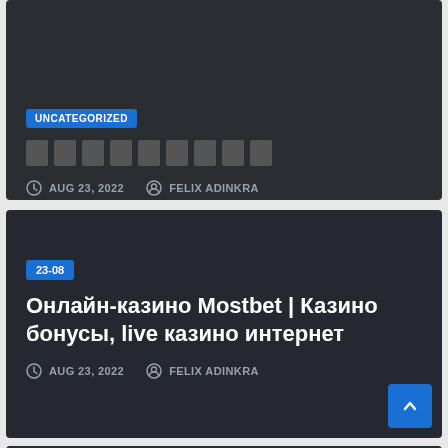[Figure (screenshot): Dark card with UNCATEGORIZED badge, blocked/placeholder title characters, date AUG 23, 2022 and author FELIX ADINKRA]
UNCATEGORIZED
█████████
AUG 23, 2022  FELIX ADINKRA
[Figure (screenshot): Dark card with 23-08 badge, title in Russian: Онлайн-казино Mostbet | Казино бонусы, live казино интернет, date AUG 23, 2022 and author FELIX ADINKRA]
23-08
Онлайн-казино Mostbet | Казино бонусы, live казино интернет
AUG 23, 2022  FELIX ADINKRA